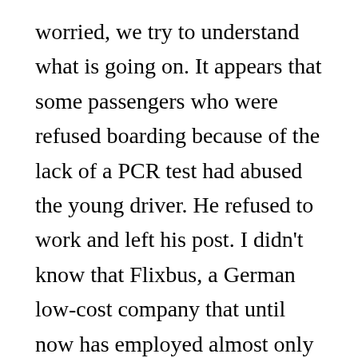worried, we try to understand what is going on. It appears that some passengers who were refused boarding because of the lack of a PCR test had abused the young driver. He refused to work and left his post. I didn't know that Flixbus, a German low-cost company that until now has employed almost only Polish posted workers, will accept withdrawal rights in 2021! I am very worried. I know that Flixbus doesn't care what happens to us, the passengers. We have paid for our seats, but they will probably cancel